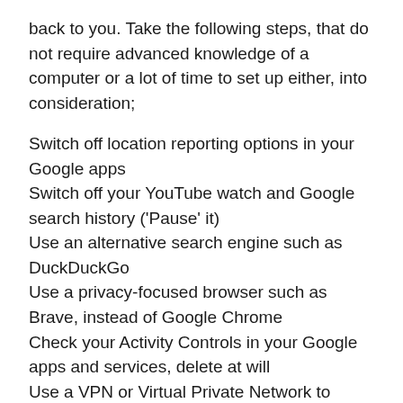back to you. Take the following steps, that do not require advanced knowledge of a computer or a lot of time to set up either, into consideration;
Switch off location reporting options in your Google apps
Switch off your YouTube watch and Google search history ('Pause' it)
Use an alternative search engine such as DuckDuckGo
Use a privacy-focused browser such as Brave, instead of Google Chrome
Check your Activity Controls in your Google apps and services, delete at will
Use a VPN or Virtual Private Network to cloak your internet connection
Switch off any ‘Ad Personalization’ or ‘Usage Statistics’ wherever you encounter it
All of this could incite some panic in those that were